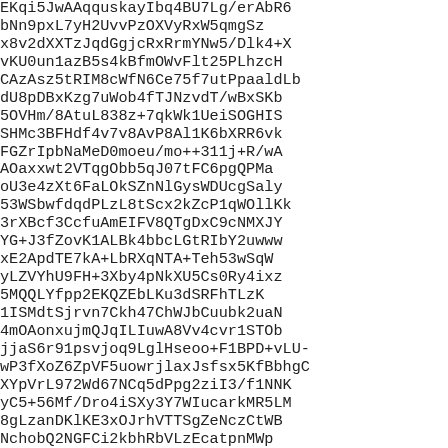EKqi5JwAAqquskayIbq4BU7Lg/erAbR6bNn9pxL7yH2UvvPzOXVyRxW5qmgSzx8v2dXXTzJqdGgjcRxRrmYNw5/Dlk4+XvKU0un1azB5s4kBfmOWvFlt25PLhzcHCAzAsz5tRIM8cWfN6Ce75f7utPpaaldLbdU8pDBxKzg7uWob4fTJNzvdT/wBxSKb5OVHm/8AtuL838z+7qkWk1UeiSOGHISSHMc3BFHdf4v7v8AvP8Al1K6bXRR6vkFGZrIpbNaMeD0moeu/mo++311j+R/wAAOaxxwt2VTqgObb5qJ07tFC6pgQPMaoU3e4zXt6FaLOkSZnNlGysWDUcgSaly53WSbwfdqdPLzL8tScx2kZcP1qWOllKk3rXBcf3CcfuAmEIFV8QTgDxC9cNMXJYYG+J3fZovK1ALBk4bbcLGtRIbY2uwwwxE2ApdTE7kA+LbRXqNTA+Teh53wSqWyLZVYhU9FH+3Xby4pNkXU5Cs0Ry4ixz5MQQLYfpp2EKQZEbLKu3dSRFhTLzK1ISMdtSjrvn7Ckh47ChWJbCuubk2uaNCm4mOAonxujmQJqILIuwA8Vv4cvr1STObOjjaS6r91psvjoq9LglHseoo+F1BPD+vLU-wP3fXoZ6ZpVF5uowrjlaxJsfsx5KfBbhgC0XYpVrL972Wd67NCq5dPpg2ziI3/f1NNKryC5+56Mf/Dro4iSXy3Y7WIucarkMR5LMa8gLzanDKlKE3xOJrhVTTSgZeNczCtWBcNchobQ2NGFCi2kbhRbVLzEcatpnMWpzTlSZHV166opiJvUHEWqL116Q0TsFJ68sGyuNsN1hauvQqibIJ4rVaqnE3qaIEdupAaXJZQyKPV2VL4hI3EH9FRvvUvtb7p/ThLipXhKtmW0YtAB56LvoOkPsVHbeihsSvqgLVxqFN6k0gLDZXVUGpvQgIrjXXqCkCSaqmuZ0DhCwDN4VvibeqtVzqxZVYF